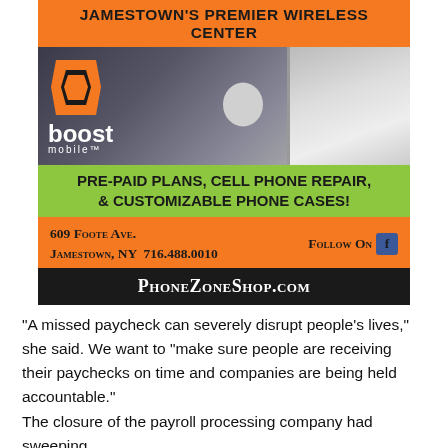[Figure (infographic): Boost Mobile advertisement for Jamestown's Premier Wireless Center. Contains orange header bar with store name, photo of smartphones (iPhone and Samsung), Boost Mobile logo, green bar advertising pre-paid plans/cell phone repair/customizable phone cases, orange bar with address 609 Foote Ave. Jamestown NY 716.488.0010 and Follow On Facebook, black bar with website PhoneZoneShop.com]
“A missed paycheck can severely disrupt people’s lives,” she said. We want to “make sure people are receiving their paychecks on time and companies are being held accountable.”
The closure of the payroll processing company had sweeping